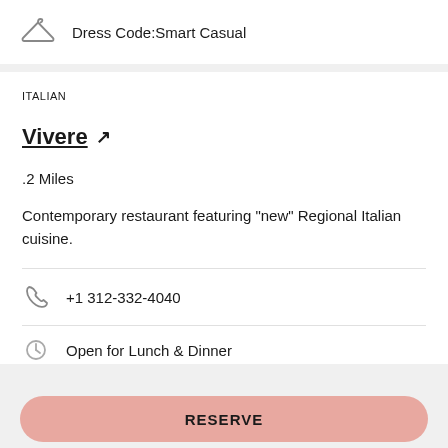Dress Code:Smart Casual
ITALIAN
Vivere ↗
.2 Miles
Contemporary restaurant featuring "new" Regional Italian cuisine.
+1 312-332-4040
Open for Lunch & Dinner
RESERVE